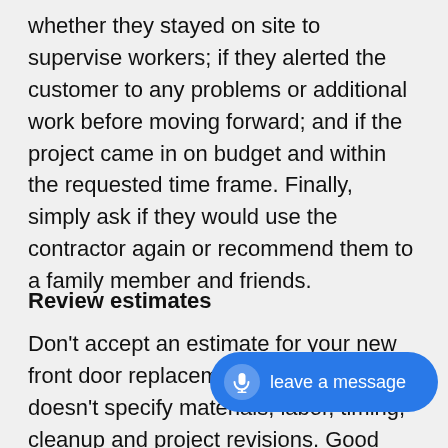whether they stayed on site to supervise workers; if they alerted the customer to any problems or additional work before moving forward; and if the project came in on budget and within the requested time frame. Finally, simply ask if they would use the contractor again or recommend them to a family member and friends.
Review estimates
Don't accept an estimate for your new front door replacement project that doesn't specify materials, labor, timing, cleanup and project revisions. Good contractors usually have printed job estimating forms. Compa... by side. Be suspicious of an e... Compare the cost of the materials and the exact